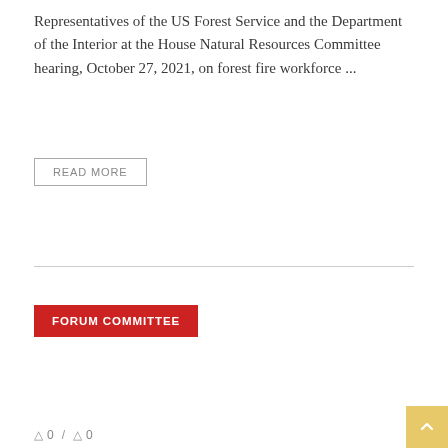Representatives of the US Forest Service and the Department of the Interior at the House Natural Resources Committee hearing, October 27, 2021, on forest fire workforce ...
READ MORE
FORUM COMMITTEE
0 / 0